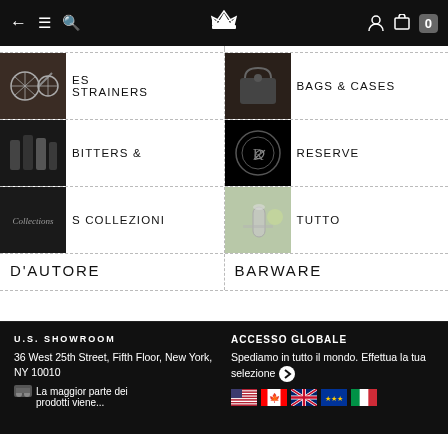← ≡ 🔍 [crown] [user] [cart] 0
[Figure (screenshot): Navigation menu grid showing product categories: STRAINERS, BAGS & CASES, BITTERS &, RESERVE, COLLEZIONI, TUTTO with thumbnail images]
D'AUTORE
BARWARE
U.S. SHOWROOM — 36 West 25th Street, Fifth Floor, New York, NY 10010 — La maggior parte dei prodotti viene... | ACCESSO GLOBALE — Spediamo in tutto il mondo. Effettua la tua selezione ❯ [flags: US, Canada, UK, EU, Italy]